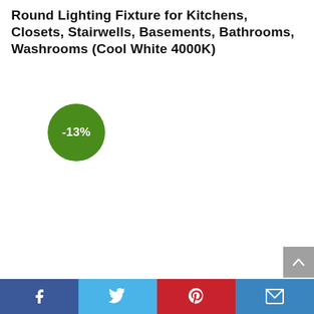Round Lighting Fixture for Kitchens, Closets, Stairwells, Basements, Bathrooms, Washrooms (Cool White 4000K)
[Figure (infographic): Green circular discount badge showing -13%]
[Figure (infographic): Social sharing bar with Facebook, Twitter, Pinterest, and Email buttons at the bottom of the page]